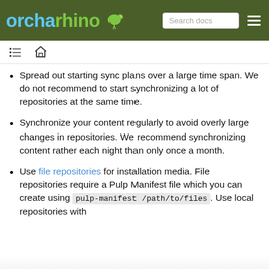orcharhino | Search docs
Spread out starting sync plans over a large time span. We do not recommend to start synchronizing a lot of repositories at the same time.
Synchronize your content regularly to avoid overly large changes in repositories. We recommend synchronizing content rather each night than only once a month.
Use file repositories for installation media. File repositories require a Pulp Manifest file which you can create using pulp-manifest /path/to/files. Use local repositories with [cut off]